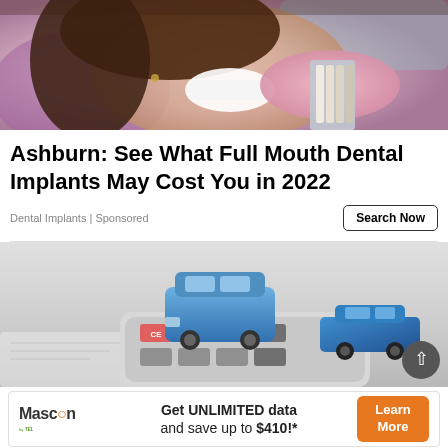[Figure (photo): Woman at dentist having teeth shade matched with porcelain veneer samples, wearing purple dental chair cover, dentist in pink gloves holding shade guide]
Ashburn: See What Full Mouth Dental Implants May Cost You in 2022
Dental Implants | Sponsored
[Figure (photo): Two small blue toy/model cars on top of a calculator suggesting auto insurance or accident cost calculation]
[Figure (infographic): Mascon by TELUS advertisement banner: Get UNLIMITED data and save up to $410!* with Learn More button]